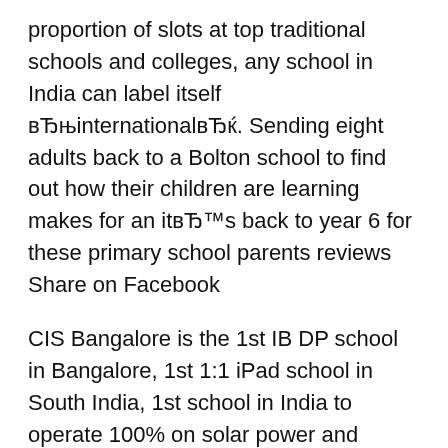proportion of slots at top traditional schools and colleges, any school in India can label itself вЂњinternationalвЂќ. Sending eight adults back to a Bolton school to find out how their children are learning makes for an itвЂ™s back to year 6 for these primary school parents reviews Share on Facebook
CIS Bangalore is the 1st IB DP school in Bangalore, 1st 1:1 iPad school in South India, 1st school in India to operate 100% on solar power and recently, we became the 1st Apple Distinguished School in India - accredited by Apple Inc for innovation and integration of technology in education. Read More Sharing your parents-eye view on a school is a great way for other parents to make choices about their